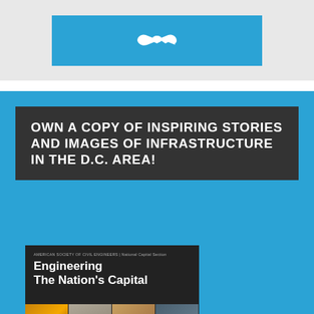[Figure (illustration): Blue banner with white handshake icon on grey background at top of page]
OWN A COPY OF INSPIRING STORIES AND IMAGES OF INFRASTRUCTURE IN THE D.C. AREA!
[Figure (photo): Book cover: 'Engineering The Nation's Capital' by American Society of Civil Engineers, National Capital Section. Shows four infrastructure photos: bridge with lights, building facade with worker, arch bridge, aerial circular infrastructure.]